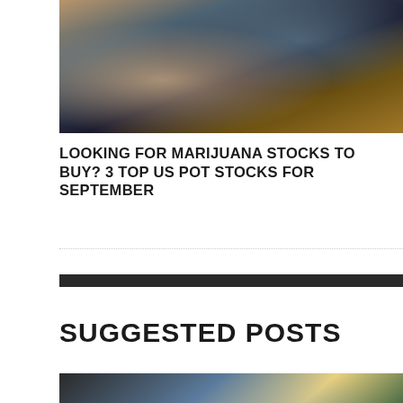[Figure (photo): Close-up photo of a person holding a smartphone showing stock market data]
LOOKING FOR MARIJUANA STOCKS TO BUY? 3 TOP US POT STOCKS FOR SEPTEMBER
[Figure (photo): Photo of a calculator keyboard with stock charts and money/cannabis in the background, related to marijuana stocks investing]
SUGGESTED POSTS